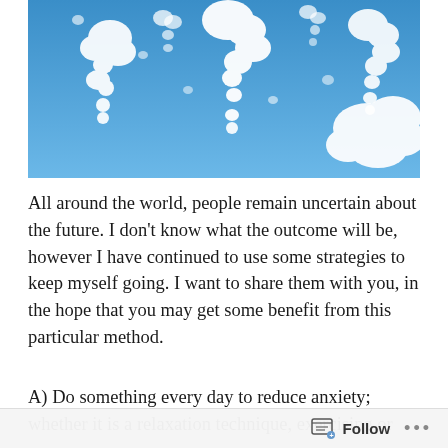[Figure (photo): Blue sky with white clouds shaped like question marks]
All around the world, people remain uncertain about the future. I don't know what the outcome will be, however I have continued to use some strategies to keep myself going. I want to share them with you, in the hope that you may get some benefit from this particular method.
A) Do something every day to reduce anxiety; whether it is a relaxation technique, exercising or
Follow ...